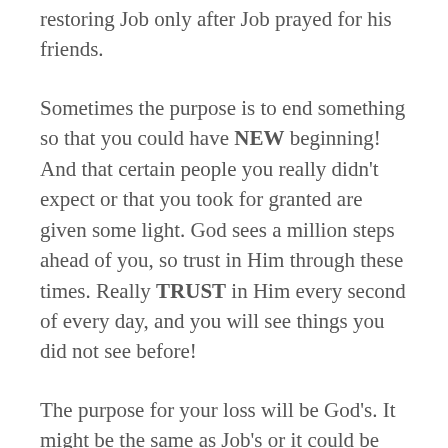restoring Job only after Job prayed for his friends.
Sometimes the purpose is to end something so that you could have NEW beginning! And that certain people you really didn't expect or that you took for granted are given some light. God sees a million steps ahead of you, so trust in Him through these times. Really TRUST in Him every second of every day, and you will see things you did not see before!
The purpose for your loss will be God's. It might be the same as Job's or it could be He is doing other things specifically in your life. Maybe a new direction, a new outlook, a test of your faith to show the church you really are of God, or it could be to show doubting unbelievers that your faith from God is something to behold. And hopefully when that time comes, you